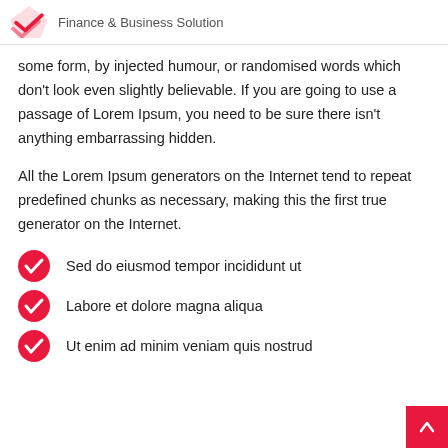Finance & Business Solution
some form, by injected humour, or randomised words which don’t look even slightly believable. If you are going to use a passage of Lorem Ipsum, you need to be sure there isn’t anything embarrassing hidden.
All the Lorem Ipsum generators on the Internet tend to repeat predefined chunks as necessary, making this the first true generator on the Internet.
Sed do eiusmod tempor incididunt ut
Labore et dolore magna aliqua
Ut enim ad minim veniam quis nostrud